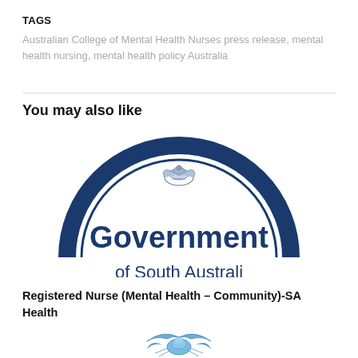TAGS
Australian College of Mental Health Nurses press release, mental health nursing, mental health policy Australia
You may also like
[Figure (logo): Partial circular seal/badge showing text 'USTRALI' in an arc with a decorative emblem, in dark navy blue — top half of Government of South Australia logo]
[Figure (logo): Large bold navy blue text reading 'Government' and partial text 'of South Australi' below — Government of South Australia logo text portion]
Registered Nurse (Mental Health – Community)-SA Health
[Figure (logo): Partial blue decorative emblem/crest at the bottom of the page]